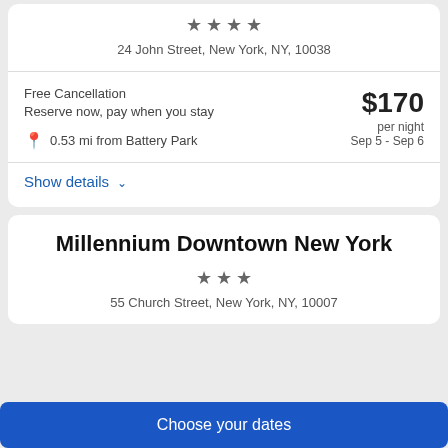★★★★ 24 John Street, New York, NY, 10038
Free Cancellation
Reserve now, pay when you stay
0.53 mi from Battery Park
$170 per night
Sep 5 - Sep 6
Show details
Millennium Downtown New York
★★★ 55 Church Street, New York, NY, 10007
Choose your dates